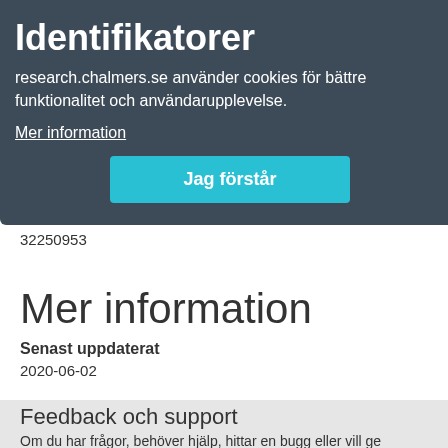Identifikatorer
research.chalmers.se använder cookies för bättre funktionalitet och användarupplevelse.
Mer information
Jag förstår
PubMed
32250953
Mer information
Senast uppdaterat
2020-06-02
Feedback och support
Om du har frågor, behöver hjälp, hittar en bugg eller vill ge